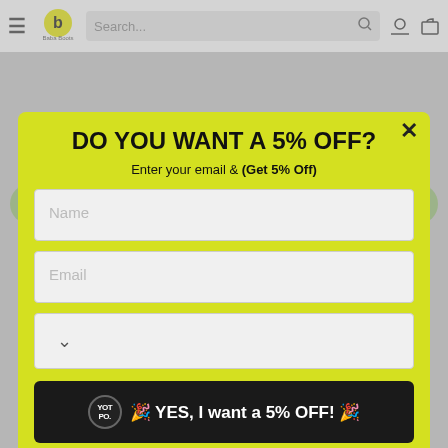[Figure (screenshot): E-commerce website screenshot showing a popup modal overlay on a product page. The modal has a yellow/lime background with the headline 'DO YOU WANT A 5% OFF?', input fields for Name and Email, a dropdown selector, a black CTA button reading 'YES, I want a 5% OFF!', and a 'NO THANKS!' text link. The background shows a nav bar with logo and search, and dimmed product page content.]
DO YOU WANT A 5% OFF?
Enter your email & (Get 5% Off)
Name
Email
YES, I want a 5% OFF!
NO THANKS!